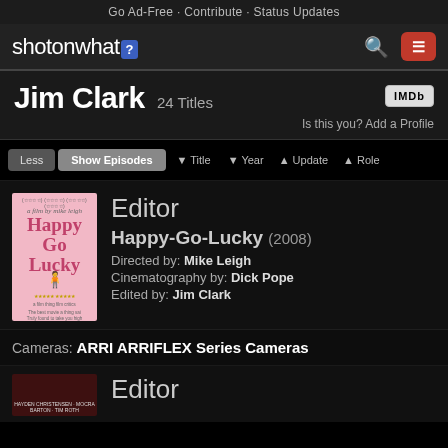Go Ad-Free · Contribute · Status Updates
[Figure (screenshot): ShotOnWhat website navigation bar with logo 'shotonwhat?' and a blue question mark badge, search icon and red hamburger menu button]
Jim Clark 24 Titles
Is this you? Add a Profile
Less  Show Episodes  ▼ Title  ▼ Year  ▲ Update  ▲ Role
Editor
Happy-Go-Lucky (2008)
Directed by: Mike Leigh
Cinematography by: Dick Pope
Edited by: Jim Clark
Cameras: ARRI ARRIFLEX Series Cameras
Editor